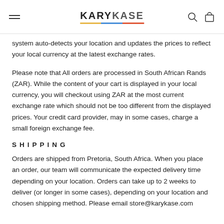KARYKASE
system auto-detects your location and updates the prices to reflect your local currency at the latest exchange rates.
Please note that All orders are processed in South African Rands (ZAR). While the content of your cart is displayed in your local currency, you will checkout using ZAR at the most current exchange rate which should not be too different from the displayed prices. Your credit card provider, may in some cases, charge a small foreign exchange fee.
SHIPPING
Orders are shipped from Pretoria, South Africa. When you place an order, our team will communicate the expected delivery time depending on your location. Orders can take up to 2 weeks to deliver (or longer in some cases), depending on your location and chosen shipping method. Please email store@karykase.com